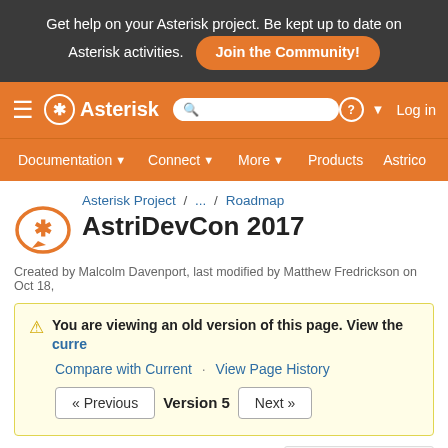Get help on your Asterisk project. Be kept up to date on Asterisk activities. Join the Community!
≡ * Asterisk  [search]  ? Log in
Documentation ▾  Connect ▾  More ▾  Products  Astrico
Asterisk Project / ... / Roadmap
AstriDevCon 2017
Created by Malcolm Davenport, last modified by Matthew Fredrickson on Oct 18,
You are viewing an old version of this page. View the curre
Compare with Current · View Page History
« Previous   Version 5   Next »
Overview
Overview